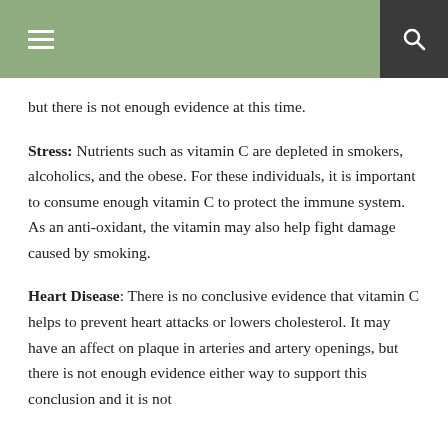Navigation header with menu and search icons
but there is not enough evidence at this time.
Stress: Nutrients such as vitamin C are depleted in smokers, alcoholics, and the obese. For these individuals, it is important to consume enough vitamin C to protect the immune system. As an anti-oxidant, the vitamin may also help fight damage caused by smoking.
Heart Disease: There is no conclusive evidence that vitamin C helps to prevent heart attacks or lowers cholesterol. It may have an affect on plaque in arteries and artery openings, but there is not enough evidence either way to support this conclusion and it is not